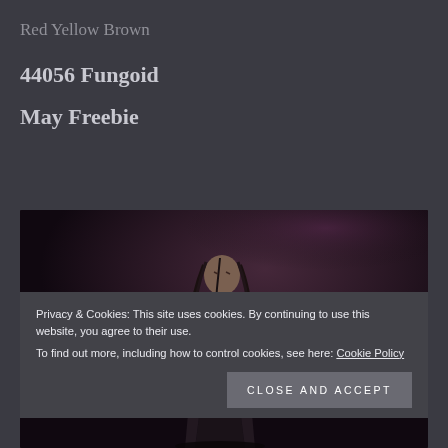Red Yellow Brown
44056 Fungoid
May Freebie
[Figure (illustration): Dark fantasy illustration of a humanoid figure with long dark hair, wearing dark armor, in a dark purple/brown atmospheric background]
Privacy & Cookies: This site uses cookies. By continuing to use this website, you agree to their use.
To find out more, including how to control cookies, see here: Cookie Policy
Close and accept